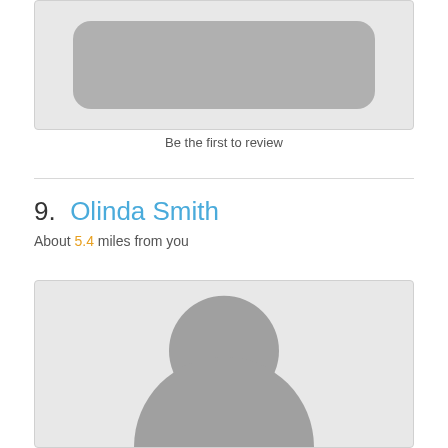[Figure (photo): Placeholder image with rounded rectangle shape on grey background]
Be the first to review
9.  Olinda Smith
About 5.4 miles from you
[Figure (photo): Placeholder person silhouette (head and body) on grey background]